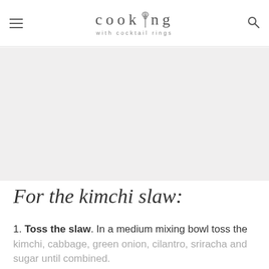cooking with cocktail rings
[Figure (other): Gray placeholder content area]
For the kimchi slaw:
1. Toss the slaw. In a medium mixing bowl toss the kimchi, cabbage, green onion, cilantro, sriracha and sugar until combined.